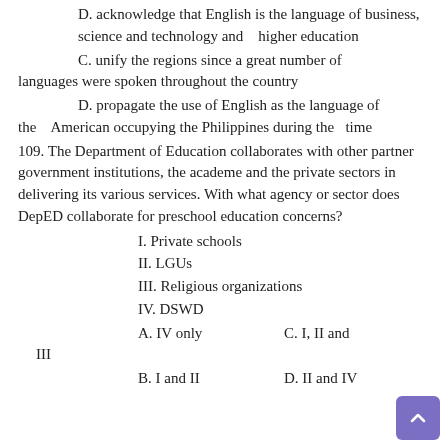D. acknowledge that English is the language of business, science and technology and   higher education
C. unify the regions since a great number of languages were spoken throughout the country
D. propagate the use of English as the language of the   American occupying the Philippines during the  time
109. The Department of Education collaborates with other partner government institutions, the academe and the private sectors in delivering its various services. With what agency or sector does DepED collaborate for preschool education concerns?
I. Private schools
II. LGUs
III. Religious organizations
IV. DSWD
A. IV only
C. I, II and III
B. I and II
D. II and IV